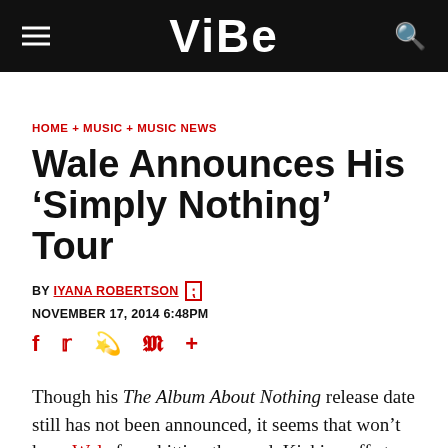VIBE
HOME + MUSIC + MUSIC NEWS
Wale Announces His ‘Simply Nothing’ Tour
BY IYANA ROBERTSON
NOVEMBER 17, 2014 6:48PM
Though his The Album About Nothing release date still has not been announced, it seems that won’t keep Wale from hitting the road. Kicking off at the top of next year, the MMG rapper will embark on the